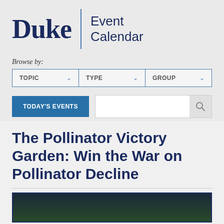Duke | Event Calendar
Browse by:
TOPIC | TYPE | GROUP
TODAY'S EVENTS
The Pollinator Victory Garden: Win the War on Pollinator Decline
[Figure (photo): Partial image of a garden or nature scene visible at the bottom of the page]